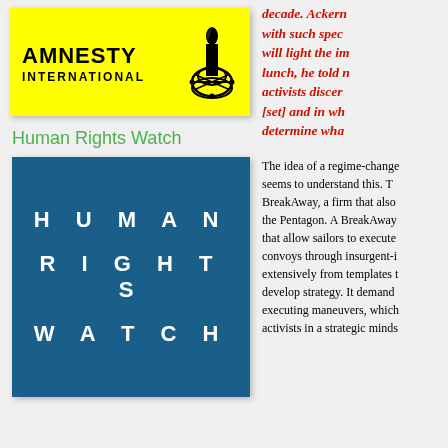[Figure (logo): Amnesty International logo on yellow background with candle icon]
Human Rights Watch
[Figure (logo): Human Rights Watch logo on dark blue background with text HUMAN RIGHTS WATCH in white spaced letters]
decade. Ackerm with such spec will light the im lunch, he told m activists discem [set] and in wh determine wha
The idea of a regime-change seems to understand this. T BreakAway, a firm that also the Pentagon. A BreakAway that allow sailors to execute convoys through insurgent-i extensively from templates t develop strategy. It demand executing maneuvers, which activists in a strategic minds